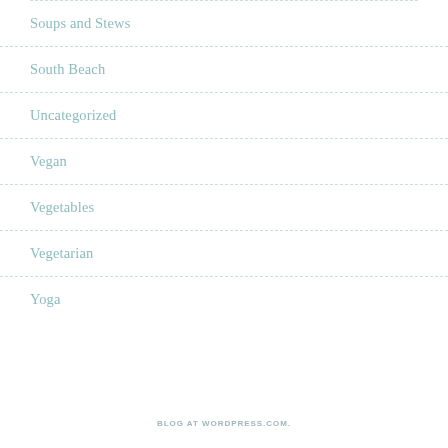Soups and Stews
South Beach
Uncategorized
Vegan
Vegetables
Vegetarian
Yoga
BLOG AT WORDPRESS.COM.